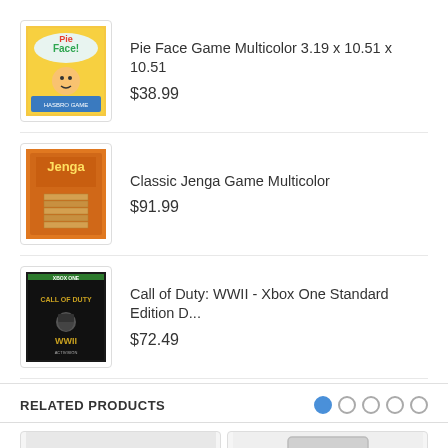[Figure (photo): Pie Face Game box product thumbnail]
Pie Face Game Multicolor 3.19 x 10.51 x 10.51
$38.99
[Figure (photo): Classic Jenga Game box product thumbnail]
Classic Jenga Game Multicolor
$91.99
[Figure (photo): Call of Duty WWII Xbox One game box product thumbnail]
Call of Duty: WWII - Xbox One Standard Edition D...
$72.49
RELATED PRODUCTS
[Figure (photo): Related product: metallic toaster or kitchen appliance]
[Figure (photo): Related product: chrome meat grinder or kitchen appliance]